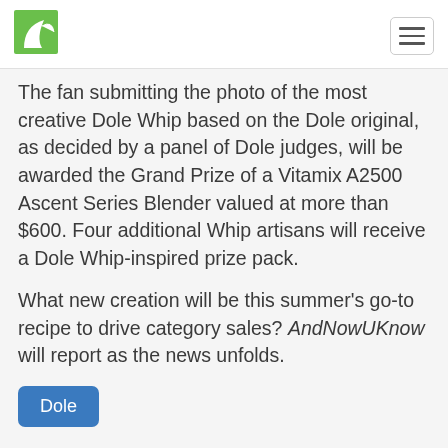[AndNowUKnow logo and hamburger menu]
The fan submitting the photo of the most creative Dole Whip based on the Dole original, as decided by a panel of Dole judges, will be awarded the Grand Prize of a Vitamix A2500 Ascent Series Blender valued at more than $600. Four additional Whip artisans will receive a Dole Whip-inspired prize pack.
What new creation will be this summer's go-to recipe to drive category sales? AndNowUKnow will report as the news unfolds.
Dole